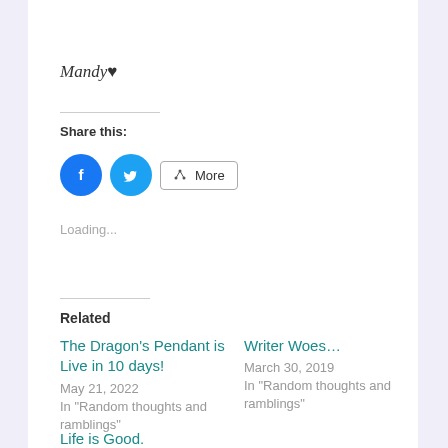Mandy♥
Share this:
[Figure (other): Social share buttons: Facebook (blue circle with F icon), Twitter (light blue circle with bird icon), and a More button with share icon]
Loading...
Related
The Dragon's Pendant is Live in 10 days!
May 21, 2022
In "Random thoughts and ramblings"
Writer Woes…
March 30, 2019
In "Random thoughts and ramblings"
Life is Good.